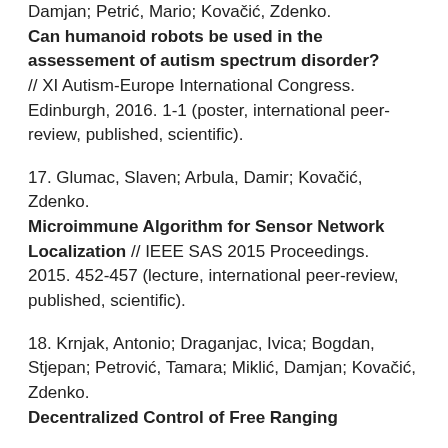Damjan; Petrić, Mario; Kovačić, Zdenko. Can humanoid robots be used in the assessement of autism spectrum disorder? // XI Autism-Europe International Congress. Edinburgh, 2016. 1-1 (poster, international peer-review, published, scientific).
17. Glumac, Slaven; Arbula, Damir; Kovačić, Zdenko. Microimmune Algorithm for Sensor Network Localization // IEEE SAS 2015 Proceedings. 2015. 452-457 (lecture, international peer-review, published, scientific).
18. Krnjak, Antonio; Draganjac, Ivica; Bogdan, Stjepan; Petrović, Tamara; Miklić, Damjan; Kovačić, Zdenko. Decentralized Control of Free Ranging